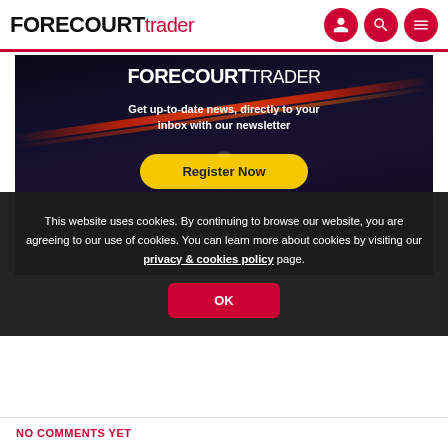FORECOURT trader
[Figure (photo): Forecourt Trader newsletter signup banner showing a petrol station at night with red/orange lighting streaks, logo at top, tagline, and yellow Register Now button]
This website uses cookies. By continuing to browse our website, you are agreeing to our use of cookies. You can learn more about cookies by visiting our privacy & cookies policy page.
OK
NO COMMENTS YET